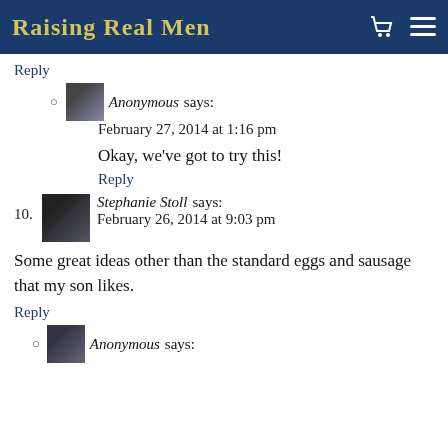Raising Real Men
Reply
Anonymous says: February 27, 2014 at 1:16 pm
Okay, we've got to try this!
Reply
10. Stephanie Stoll says: February 26, 2014 at 9:03 pm
Some great ideas other than the standard eggs and sausage that my son likes.
Reply
Anonymous says: